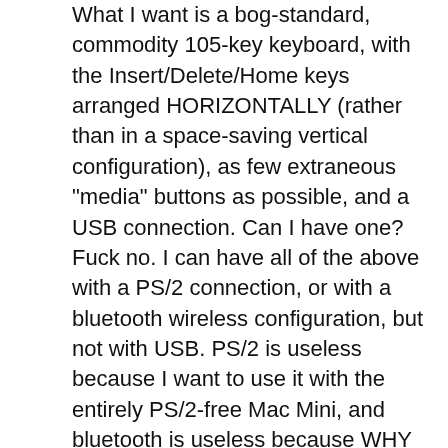What I want is a bog-standard, commodity 105-key keyboard, with the Insert/Delete/Home keys arranged HORIZONTALLY (rather than in a space-saving vertical configuration), as few extraneous "media" buttons as possible, and a USB connection. Can I have one? Fuck no. I can have all of the above with a PS/2 connection, or with a bluetooth wireless configuration, but not with USB. PS/2 is useless because I want to use it with the entirely PS/2-free Mac Mini, and bluetooth is useless because WHY WOULD I WANT TO SPEND TWICE AS MUCH ON A KEYBOARD JUST SO I CAN CHANGE ITS BATTERIES ONCE A MONTH? I'm baffled by the proliferation of wireless keyboards and mice. What the fuck are you going to do with that 10m range? You'll need a pair of binoculars to read the text you're typing.

What I would really like is my old MS Internet keyboard, only with a USB connection. No can do. PS/2 only, and unfortunately it doesn't work with the PS/2-to-USB